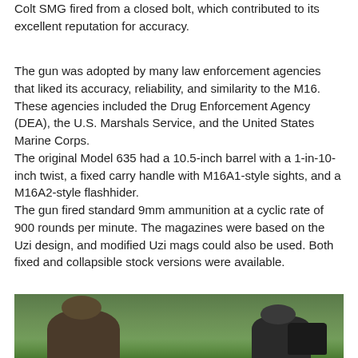Colt SMG fired from a closed bolt, which contributed to its excellent reputation for accuracy.
The gun was adopted by many law enforcement agencies that liked its accuracy, reliability, and similarity to the M16. These agencies included the Drug Enforcement Agency (DEA), the U.S. Marshals Service, and the United States Marine Corps. The original Model 635 had a 10.5-inch barrel with a 1-in-10-inch twist, a fixed carry handle with M16A1-style sights, and a M16A2-style flashhider. The gun fired standard 9mm ammunition at a cyclic rate of 900 rounds per minute. The magazines were based on the Uzi design, and modified Uzi mags could also be used. Both fixed and collapsible stock versions were available.
[Figure (photo): Outdoor photo showing two people on grass, one on the left wearing dark jacket and hat, one on the right in dark clothing, with a dark cylindrical object on the far right. Green grass background.]